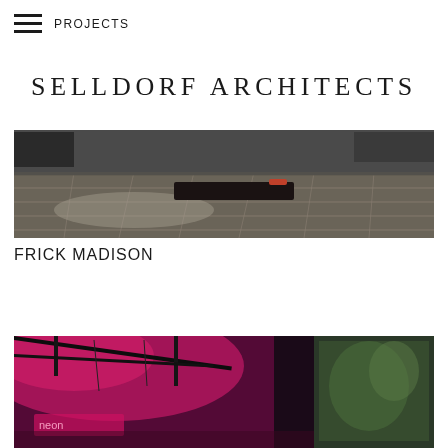PROJECTS
SELLDORF ARCHITECTS
[Figure (photo): Interior gallery space with stone tile floor, dark low bench or sculpture in the foreground, gray walls, dark artwork visible in the background]
FRICK MADISON
[Figure (photo): Interior space with dramatic pink/magenta lighting, a dark tent or canopy structure overhead, neon signage and projection screen visible in the background]